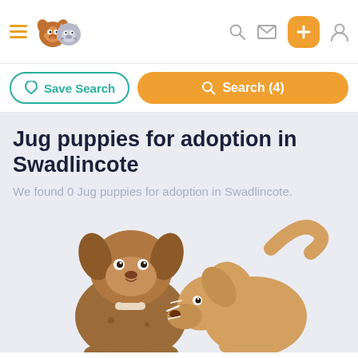[Figure (screenshot): Pet adoption website header with hamburger menu, animal logo, search icon, mail icon, orange plus button, and user icon]
Save Search
Search (4)
Jug puppies for adoption in Swadlincote
We found 0 Jug puppies for adoption in Swadlincote.
[Figure (illustration): Two cartoon dogs playing together — a brown dog and a tan/beige dog — on a light blue-grey background]